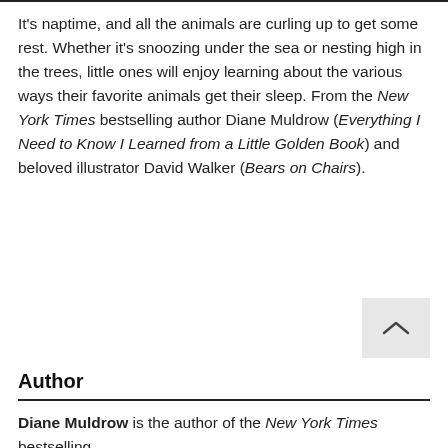It's naptime, and all the animals are curling up to get some rest. Whether it's snoozing under the sea or nesting high in the trees, little ones will enjoy learning about the various ways their favorite animals get their sleep. From the New York Times bestselling author Diane Muldrow (Everything I Need to Know I Learned from a Little Golden Book) and beloved illustrator David Walker (Bears on Chairs).
Author
Diane Muldrow is the author of the New York Times bestselling